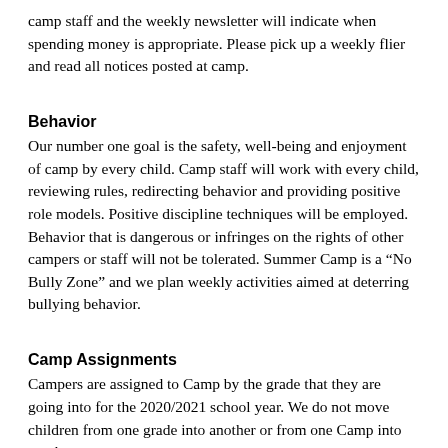camp staff and the weekly newsletter will indicate when spending money is appropriate. Please pick up a weekly flier and read all notices posted at camp.
Behavior
Our number one goal is the safety, well-being and enjoyment of camp by every child. Camp staff will work with every child, reviewing rules, redirecting behavior and providing positive role models. Positive discipline techniques will be employed. Behavior that is dangerous or infringes on the rights of other campers or staff will not be tolerated. Summer Camp is a “No Bully Zone” and we plan weekly activities aimed at deterring bullying behavior.
Camp Assignments
Campers are assigned to Camp by the grade that they are going into for the 2020/2021 school year. We do not move children from one grade into another or from one Camp into another.